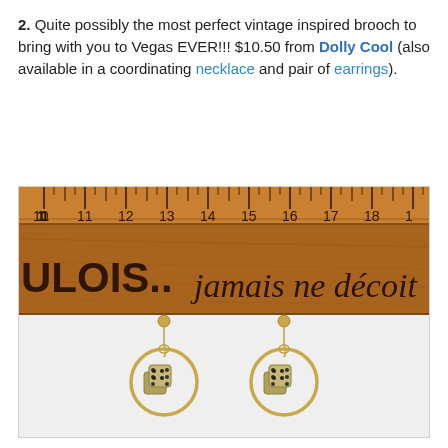2. Quite possibly the most perfect vintage inspired brooch to bring with you to Vegas EVER!!! $10.50 from Dolly Cool (also available in a coordinating necklace and pair of earrings).
[Figure (photo): Photo of a pair of gold dice earrings with circular hoops hanging from a stud, displayed against a vintage wooden ruler showing measurements 10–18, with French text 'ULOIS... jamais ne décoit' engraved on the ruler.]